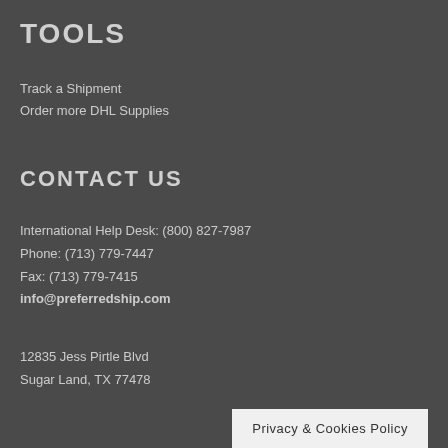TOOLS
Track a Shipment
Order more DHL Supplies
CONTACT US
International Help Desk: (800) 827-7987
Phone: (713) 779-7447
Fax: (713) 779-7415
info@preferredship.com
12835 Jess Pirtle Blvd
Sugar Land, TX 77478
Privacy & Cookies Policy